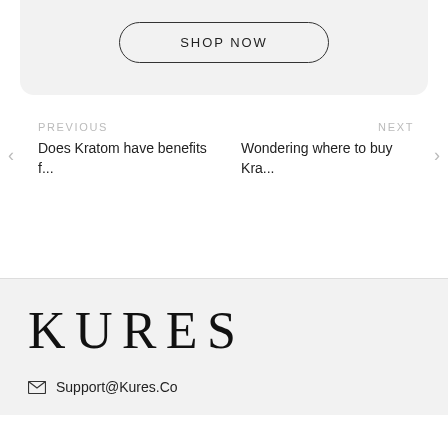[Figure (other): Shop Now button with rounded border on light gray background card]
PREVIOUS
Does Kratom have benefits f...
NEXT
Wondering where to buy Kra...
KURES
Support@Kures.Co